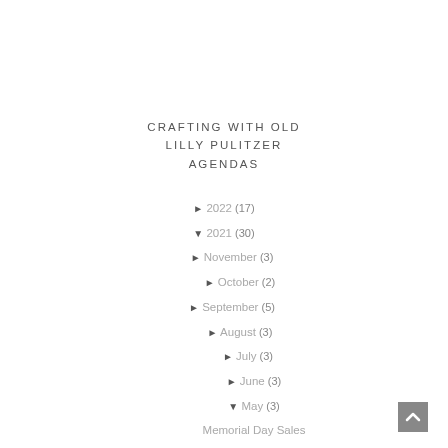CRAFTING WITH OLD LILLY PULITZER AGENDAS
► 2022 (17)
▼ 2021 (30)
► November (3)
► October (2)
► September (5)
► August (3)
► July (3)
► June (3)
▼ May (3)
Memorial Day Sales
Wedding Wednesday: 30 Days Out